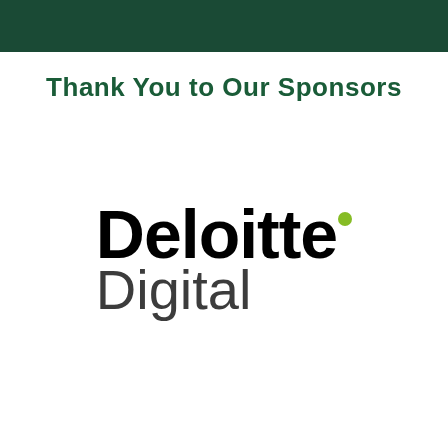Thank You to Our Sponsors
[Figure (logo): Deloitte Digital logo — bold black 'Deloitte.' text with a lime-green dot after the period, and lighter-weight 'Digital' text below]